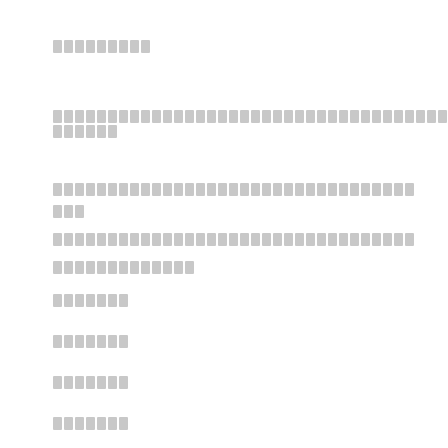[redacted/placeholder text block 1]
[redacted/placeholder text block 2]
[redacted/placeholder text block 3 - multiline]
[redacted/placeholder list item 1]
[redacted/placeholder list item 2]
[redacted/placeholder list item 3]
[redacted/placeholder list item 4]